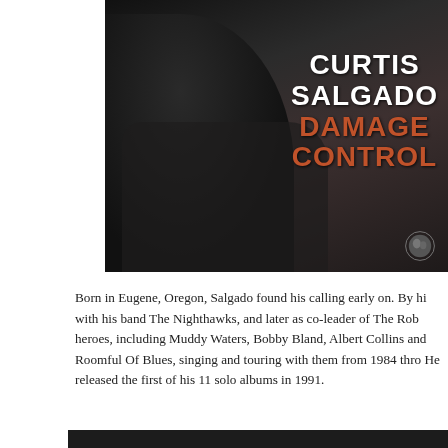[Figure (photo): Album cover photo of Curtis Salgado for 'Damage Control'. A man in a black shirt with arms crossed against a dark background. White bold text reads 'CURTIS SALGADO' and below in orange/rust color 'DAMAGE CONTROL'. A small label logo appears in the bottom right corner.]
Born in Eugene, Oregon, Salgado found his calling early on. By hi with his band The Nighthawks, and later as co-leader of The Rob heroes, including Muddy Waters, Bobby Bland, Albert Collins and Roomful Of Blues, singing and touring with them from 1984 thro He released the first of his 11 solo albums in 1991.
[Figure (photo): Partial dark image visible at the bottom of the page, appears to be another photo.]